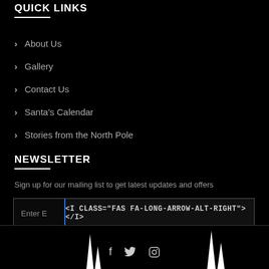QUICK LINKS
About Us
Gallery
Contact Us
Santa's Calendar
Stories from the North Pole
NEWSLETTER
Sign up for our mailing list to get latest updates and offers
Enter E  <I CLASS="FAS FA-LONG-ARROW-ALT-RIGHT"></I>
social icons: f, twitter, instagram; spire decorations